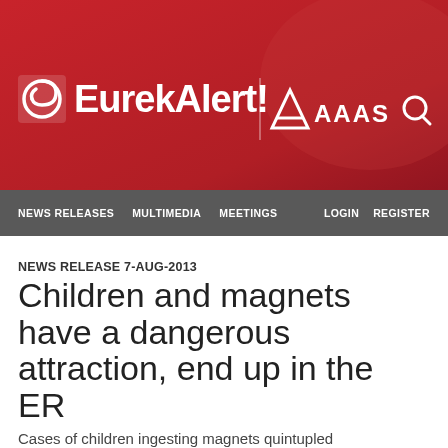[Figure (logo): EurekAlert! logo with AAAS branding on red background header]
NEWS RELEASES   MULTIMEDIA   MEETINGS   LOGIN   REGISTER
NEWS RELEASE 7-AUG-2013
Children and magnets have a dangerous attraction, end up in the ER
Cases of children ingesting magnets quintupled
Peer-Reviewed Publication
AMERICAN COLLEGE OF EMERGENCY PHYSICIANS